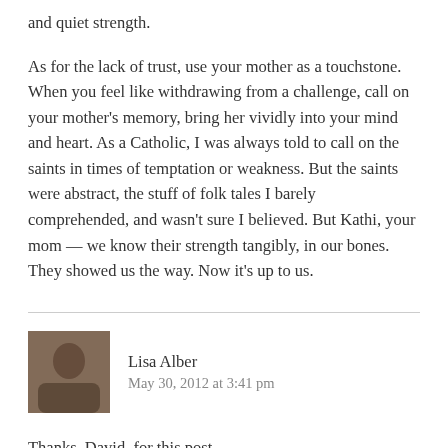and quiet strength.
As for the lack of trust, use your mother as a touchstone. When you feel like withdrawing from a challenge, call on your mother's memory, bring her vividly into your mind and heart. As a Catholic, I was always told to call on the saints in times of temptation or weakness. But the saints were abstract, the stuff of folk tales I barely comprehended, and wasn't sure I believed. But Kathi, your mom — we know their strength tangibly, in our bones. They showed us the way. Now it's up to us.
Lisa Alber
May 30, 2012 at 3:41 pm
Thanks, David, for this post.